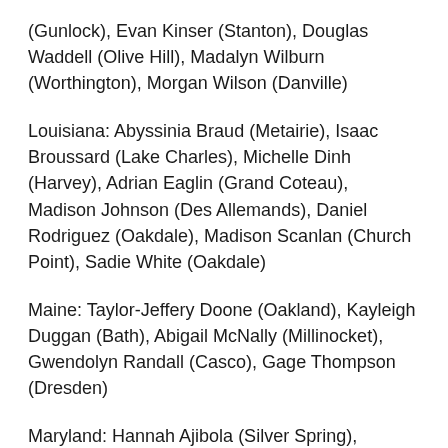(Gunlock), Evan Kinser (Stanton), Douglas Waddell (Olive Hill), Madalyn Wilburn (Worthington), Morgan Wilson (Danville)
Louisiana: Abyssinia Braud (Metairie), Isaac Broussard (Lake Charles), Michelle Dinh (Harvey), Adrian Eaglin (Grand Coteau), Madison Johnson (Des Allemands), Daniel Rodriguez (Oakdale), Madison Scanlan (Church Point), Sadie White (Oakdale)
Maine: Taylor-Jeffery Doone (Oakland), Kayleigh Duggan (Bath), Abigail McNally (Millinocket), Gwendolyn Randall (Casco), Gage Thompson (Dresden)
Maryland: Hannah Ajibola (Silver Spring), Monisha Ascension (Silver Spring), Alicia Benn (Middle River),